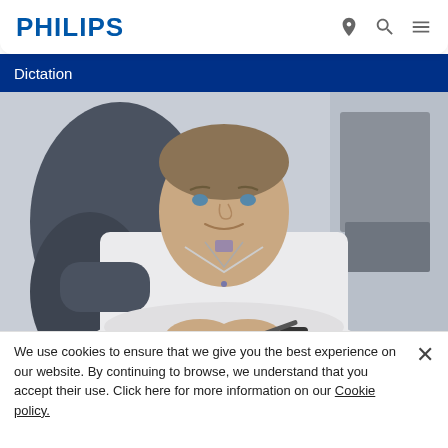PHILIPS
Dictation
[Figure (photo): A middle-aged man in a white shirt sitting at an office desk, leaning forward with hands clasped, smiling at the camera. Office background with equipment visible.]
We use cookies to ensure that we give you the best experience on our website. By continuing to browse, we understand that you accept their use. Click here for more information on our Cookie policy.